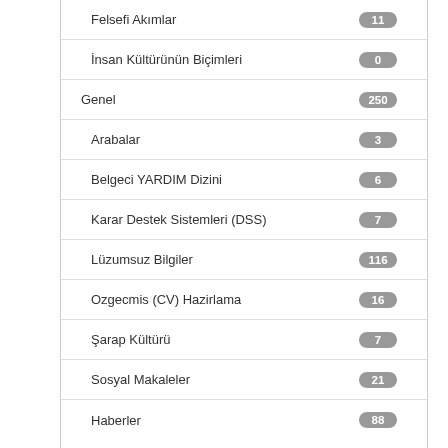Felsefi Akımlar — 11
İnsan Kültürünün Biçimleri — 0
Genel — 250
Arabalar — 3
Belgeci YARDIM Dizini — 6
Karar Destek Sistemleri (DSS) — 7
Lüzumsuz Bilgiler — 116
Ozgecmis (CV) Hazirlama — 16
Şarap Kültürü — 7
Sosyal Makaleler — 21
Haberler — 88